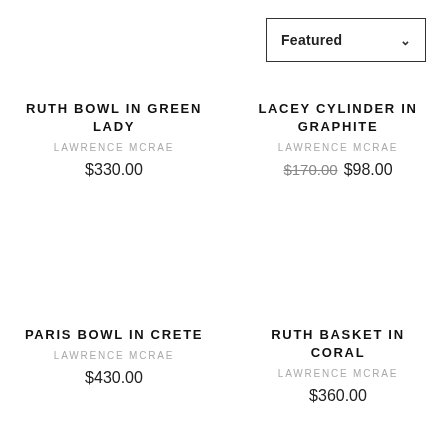Featured
RUTH BOWL IN GREEN LADY
LAWRENCE MCRAE
$330.00
LACEY CYLINDER IN GRAPHITE
LAWRENCE MCRAE
$170.00  $98.00
PARIS BOWL IN CRETE
LAWRENCE MCRAE
$430.00
RUTH BASKET IN CORAL
LAWRENCE MCRAE
$360.00